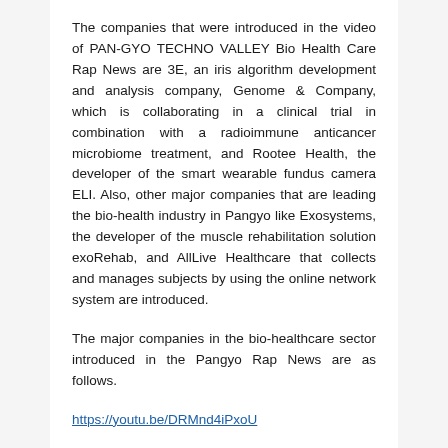The companies that were introduced in the video of PAN-GYO TECHNO VALLEY Bio Health Care Rap News are 3E, an iris algorithm development and analysis company, Genome & Company, which is collaborating in a clinical trial in combination with a radioimmune anticancer microbiome treatment, and Rootee Health, the developer of the smart wearable fundus camera ELI. Also, other major companies that are leading the bio-health industry in Pangyo like Exosystems, the developer of the muscle rehabilitation solution exoRehab, and AllLive Healthcare that collects and manages subjects by using the online network system are introduced.
The major companies in the bio-healthcare sector introduced in the Pangyo Rap News are as follows.
https://youtu.be/DRMnd4iPxoU